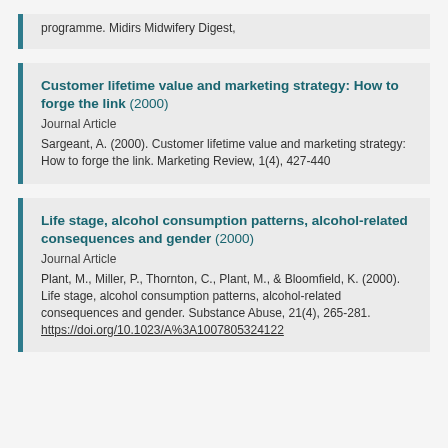programme. Midirs Midwifery Digest,
Customer lifetime value and marketing strategy: How to forge the link (2000)
Journal Article
Sargeant, A. (2000). Customer lifetime value and marketing strategy: How to forge the link. Marketing Review, 1(4), 427-440
Life stage, alcohol consumption patterns, alcohol-related consequences and gender (2000)
Journal Article
Plant, M., Miller, P., Thornton, C., Plant, M., & Bloomfield, K. (2000). Life stage, alcohol consumption patterns, alcohol-related consequences and gender. Substance Abuse, 21(4), 265-281. https://doi.org/10.1023/A%3A1007805324122